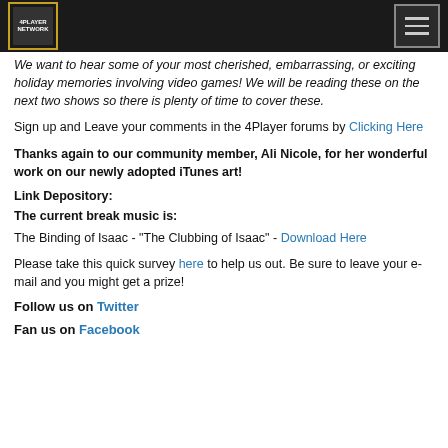4Player Network logo and navigation menu
We want to hear some of your most cherished, embarrassing, or exciting holiday memories involving video games! We will be reading these on the next two shows so there is plenty of time to cover these.
Sign up and Leave your comments in the 4Player forums by Clicking Here
Thanks again to our community member, Ali Nicole, for her wonderful work on our newly adopted iTunes art!
Link Depository:
The current break music is:
The Binding of Isaac - "The Clubbing of Isaac" - Download Here
Please take this quick survey here to help us out. Be sure to leave your e-mail and you might get a prize!
Follow us on Twitter
Fan us on Facebook